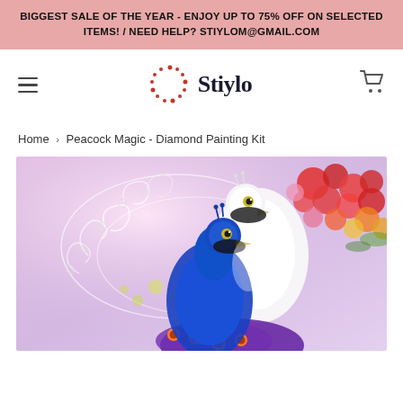BIGGEST SALE OF THE YEAR - ENJOY UP TO 75% OFF ON SELECTED ITEMS! / NEED HELP? STIYLOM@GMAIL.COM
[Figure (logo): Stiylo brand logo with red dot pattern forming a circle and brand name in dark navy serif font]
Home › Peacock Magic - Diamond Painting Kit
[Figure (photo): Product photo of Peacock Magic Diamond Painting Kit showing two stylized peacocks - one white with swirling feathers on left and one blue/purple on right, against a background of colorful red, orange and yellow flowers]